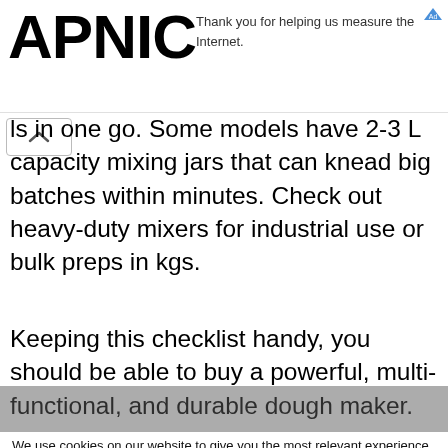[Figure (logo): APNIC logo in large bold black text]
Thank you for helping us measure the Internet.
ls in one go. Some models have 2-3 L capacity mixing jars that can knead big batches within minutes. Check out heavy-duty mixers for industrial use or bulk preps in kgs.
Keeping this checklist handy, you should be able to buy a powerful, multi-functional, and durable dough maker.
We use cookies on our website to give you the most relevant experience by remembering your preferences and repeat visits. By clicking "Accept All", you consent to the use of ALL the cookies. However, you may visit "Cookie Settings" to provide a controlled consent.